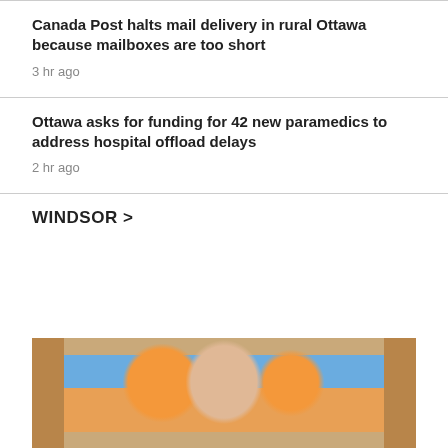Canada Post halts mail delivery in rural Ottawa because mailboxes are too short
3 hr ago
Ottawa asks for funding for 42 new paramedics to address hospital offload delays
2 hr ago
WINDSOR >
[Figure (photo): Photo of a person wearing glasses with orange flower art and blue/brown background visible behind them]